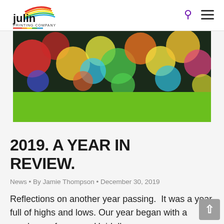Julin Printing Company — navigation header with logo, search icon, and menu icon
[Figure (photo): Colorful bokeh lights photo banner with green bar at bottom]
2019. A YEAR IN REVIEW.
News • By Jamie Thompson • December 30, 2019
Reflections on another year passing.  It was a year full of highs and lows. Our year began with a purchase of our new Heidelberg press.